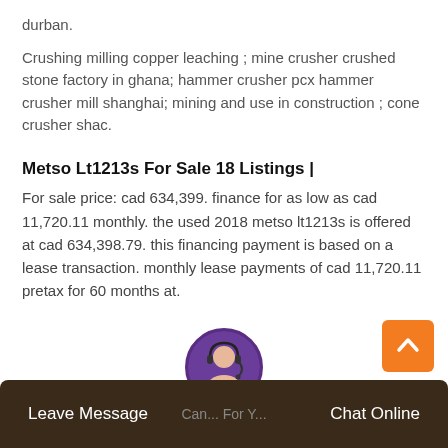durban.
Crushing milling copper leaching ; mine crusher crushed stone factory in ghana; hammer crusher pcx hammer crusher mill shanghai; mining and use in construction ; cone crusher shac.
Metso Lt1213s For Sale 18 Listings |
For sale price: cad 634,399. finance for as low as cad 11,720.11 monthly. the used 2018 metso lt1213s is offered at cad 634,398.79. this financing payment is based on a lease transaction. monthly lease payments of cad 11,720.11 pretax for 60 months at.
[Figure (photo): Customer service representative avatar in circular frame with purple border]
Leave Message   Can... For Y...   Chat Online